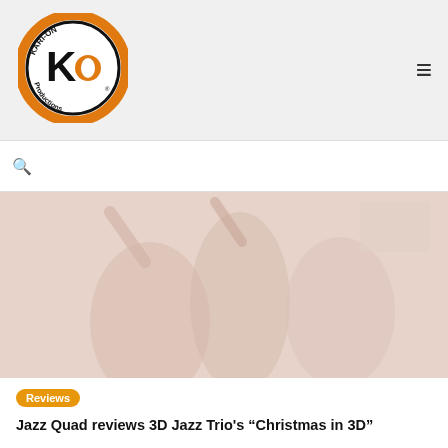Kari-On Productions logo and navigation
[Figure (photo): Faded photo of three people at a concert or event, arms raised, smiling]
Reviews
Jazz Quad reviews 3D Jazz Trio's “Christmas in 3D”